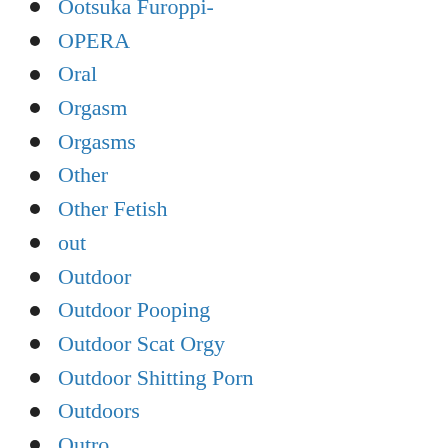Ootsuka Furoppi-
OPERA
Oral
Orgasm
Orgasms
Other
Other Fetish
out
Outdoor
Outdoor Pooping
Outdoor Scat Orgy
Outdoor Shitting Porn
Outdoors
Outro
outside
over.knees
overknee socks